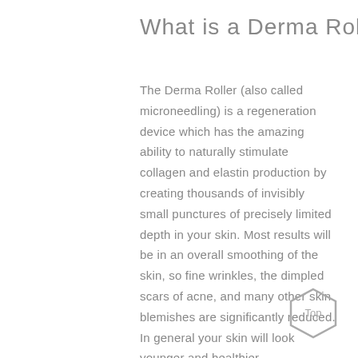What is a Derma Roller?
The Derma Roller (also called microneedling) is a regeneration device which has the amazing ability to naturally stimulate collagen and elastin production by creating thousands of invisibly small punctures of precisely limited depth in your skin. Most results will be in an overall smoothing of the skin, so fine wrinkles, the dimpled scars of acne, and many other skin blemishes are significantly reduced. In general your skin will look younger and healthier.
[Figure (other): Hexagonal 'Top' button in bottom-right corner, grey outline hexagon with 'Top' text inside]